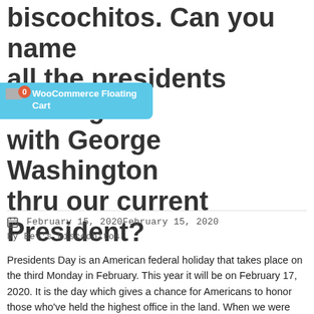biscochitos. Can you name all the presidents starting with George Washington thru our current President?
[Figure (screenshot): WooCommerce Floating Cart widget with blue background, flag icon, red badge showing '0', and label text 'WooCommerce Floating Cart']
February 15, 2020February 15, 2020 by Bev's Biscochitos
Presidents Day is an American federal holiday that takes place on the third Monday in February. This year it will be on February 17, 2020. It is the day which gives a chance for Americans to honor those who've held the highest office in the land. When we were small my mom would ask us … Continue reading "President's Day with Bev's biscochitos. Can you name all the presidents starting with George Washington thru our current President?"